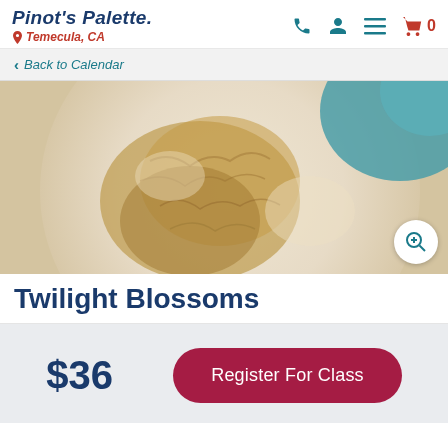Pinot's Palette — Temecula, CA
Back to Calendar
[Figure (photo): Close-up photograph of a painting showing textured golden-brown and cream tones resembling twilight blossoms, with a hint of teal/blue in the upper right corner.]
Twilight Blossoms
$36
Register For Class